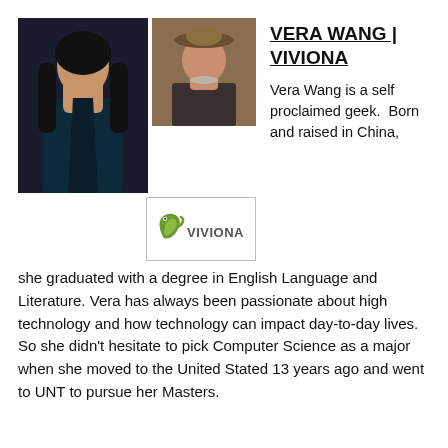[Figure (photo): Two photos of Vera Wang side by side: left photo shows a woman in a dark dress with long dark hair; right photo shows a woman in a patterned top wearing a hat. Below the right photo is the Viviona logo with a green leaf/chameleon icon.]
VERA WANG | VIVIONA
Vera Wang is a self proclaimed geek.  Born and raised in China, she graduated with a degree in English Language and Literature. Vera has always been passionate about high technology and how technology can impact day-to-day lives.  So she didn't hesitate to pick Computer Science as a major when she moved to the United Stated 13 years ago and went to UNT to pursue her Masters.